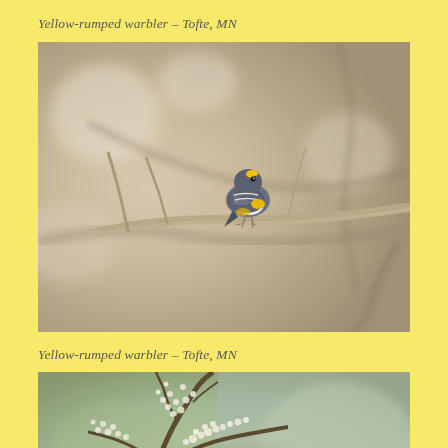Yellow-rumped warbler – Tofte, MN
[Figure (photo): A yellow-rumped warbler perched on a bare branch, showing gray, white, and yellow plumage, with a blurred brown bokeh background of branches and foliage.]
Yellow-rumped warbler – Tofte, MN
[Figure (photo): A partial view of flowering or budding tree branches with small white clustered blooms against a soft green and gray background.]